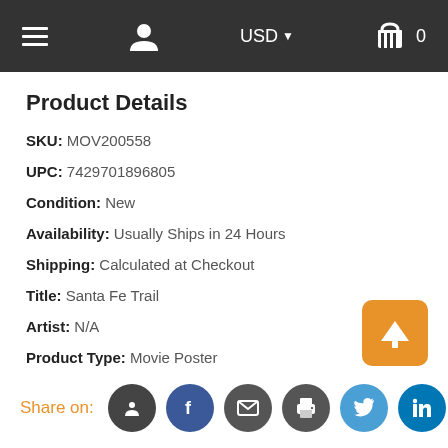Navigation bar with menu, user, USD currency selector, and cart (0)
Product Details
SKU: MOV200558
UPC: 7429701896805
Condition: New
Availability: Usually Ships in 24 Hours
Shipping: Calculated at Checkout
Title: Santa Fe Trail
Artist: N/A
Product Type: Movie Poster
Paper Size: 11.00 x 17.00
Image Size: 11.00 x 17.00
Publisher: Pop Culture Graphics
Size: Medium
Share on: